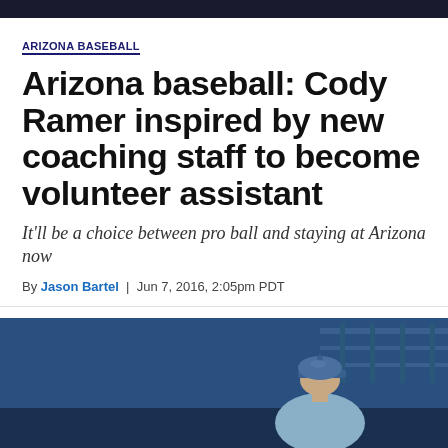ARIZONA BASEBALL
Arizona baseball: Cody Ramer inspired by new coaching staff to become volunteer assistant
It'll be a choice between pro ball and staying at Arizona now
By Jason Bartel | Jun 7, 2016, 2:05pm PDT
[Figure (photo): A person wearing a blue baseball cap, viewed from behind or side, with a blue fence/wall in the background at a baseball field.]